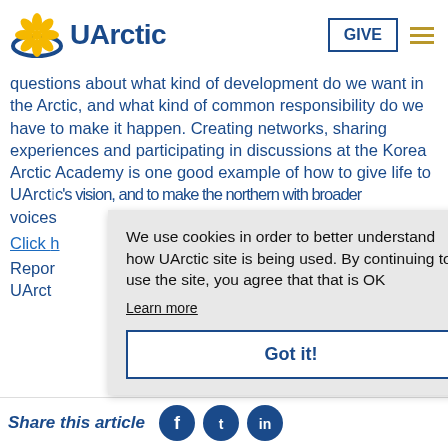UArctic
questions about what kind of development do we want in the Arctic, and what kind of common responsibility do we have to make it happen. Creating networks, sharing experiences and participating in discussions at the Korea Arctic Academy is one good example of how to give life to UArctic's vision, and to make the northern with broader voices
Click
Repo UArct
[Figure (screenshot): Cookie consent popup overlay with message: We use cookies in order to better understand how UArctic site is being used. By continuing to use the site, you agree that that is OK. Learn more link. Got it! button.]
Share this article
[Figure (logo): Facebook, Twitter, LinkedIn social media icons]